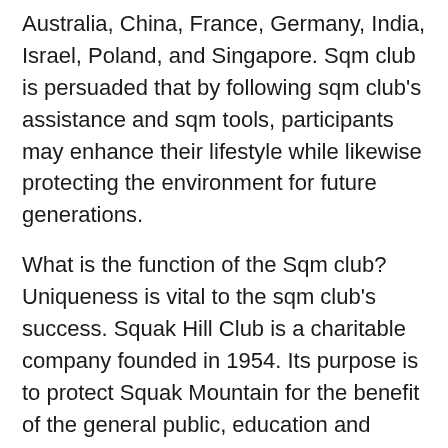Australia, China, France, Germany, India, Israel, Poland, and Singapore. Sqm club is persuaded that by following sqm club's assistance and sqm tools, participants may enhance their lifestyle while likewise protecting the environment for future generations.
What is the function of the Sqm club?
Uniqueness is vital to the sqm club's success. Squak Hill Club is a charitable company founded in 1954. Its purpose is to protect Squak Mountain for the benefit of the general public, education and learning, and also scientific research study.
The SMC thinks that a small team of committed volunteers might have a substantial influence on the mountain. Members do not help the sqm club yet rather volunteer their time and skills to help it achieve its goals.